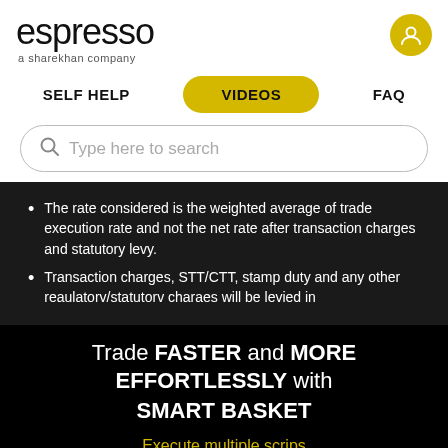[Figure (logo): Espresso - a sharekhan company logo with user profile icon]
SELF HELP | VIDEOS | FAQ
[Figure (screenshot): Search bar with placeholder text: Type here to search]
The rate considered is the weighted average of trade execution rate and not the net rate after transaction charges and statutory levy.
Transaction charges, STT/CTT, stamp duty and any other reaulatorv/statutorv charaes will be levied in
Trade FASTER and MORE EFFORTLESSLY with SMART BASKET
Execute multiple scrips across segments with just 1 click!
KNOW MORE